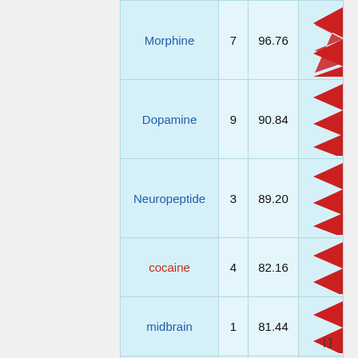| Name | Count | Score |  |
| --- | --- | --- | --- |
| Morphine | 7 | 96.76 |  |
| Dopamine | 9 | 90.84 |  |
| Neuropeptide | 3 | 89.20 |  |
| cocaine | 4 | 82.16 |  |
| midbrain | 1 | 81.44 |  |
| Substantia nigra | 1 | 79.52 |  |
| Opioid | 2 | 78.40 |  |
|}